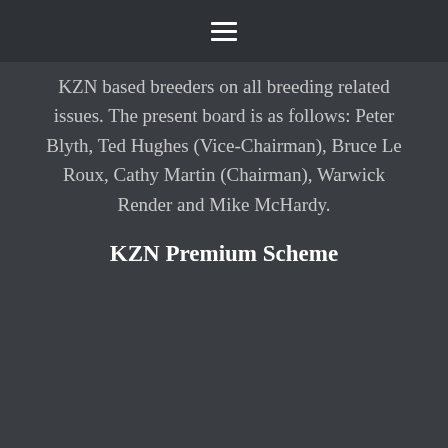≡
KZN based breeders on all breeding related issues. The present board is as follows: Peter Blyth, Ted Hughes (Vice-Chairman), Bruce Le Roux, Cathy Martin (Chairman), Warwick Render and Mike McHardy.
KZN Premium Scheme
Learn more about our Premium Scheme:
Contact Info